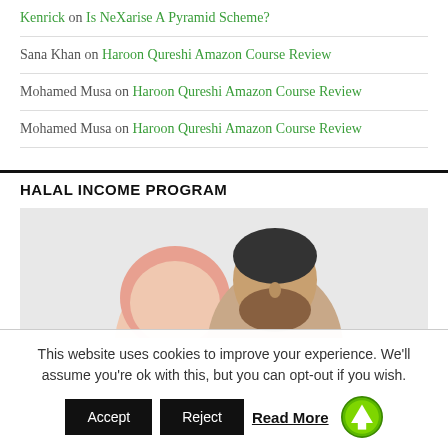Kenrick on Is NeXarise A Pyramid Scheme?
Sana Khan on Haroon Qureshi Amazon Course Review
Mohamed Musa on Haroon Qureshi Amazon Course Review
Mohamed Musa on Haroon Qureshi Amazon Course Review
HALAL INCOME PROGRAM
[Figure (photo): Photo of a man and woman, cropped at shoulders, light grey background]
This website uses cookies to improve your experience. We'll assume you're ok with this, but you can opt-out if you wish.
Accept  Reject  Read More